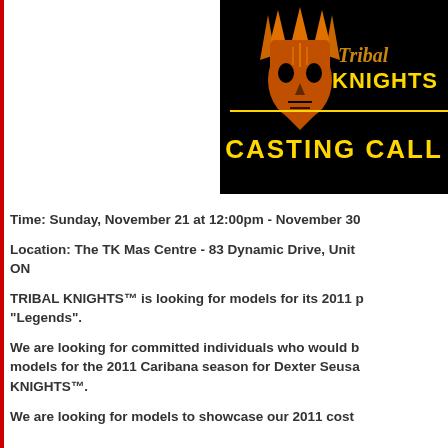[Figure (logo): Tribal Knights logo with orange tribal mask and text 'Tribal KNIGHTS CASTING CALL' on black background]
Time: Sunday, November 21 at 12:00pm - November 30
Location: The TK Mas Centre - 83 Dynamic Drive, Unit ON
TRIBAL KNIGHTS™ is looking for models for its 2011 p "Legends".
We are looking for committed individuals who would b models for the 2011 Caribana season for Dexter Seusa KNIGHTS™.
We are looking for models to showcase our 2011 cost